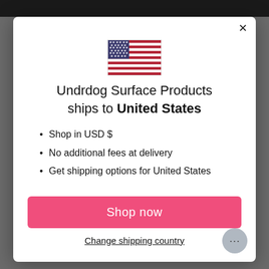[Figure (illustration): US flag SVG illustration]
Undrdog Surface Products ships to United States
Shop in USD $
No additional fees at delivery
Get shipping options for United States
Shop now
Change shipping country